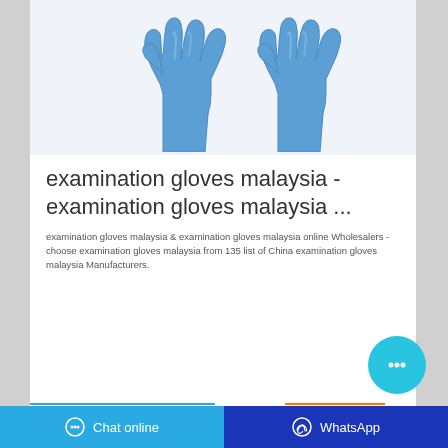[Figure (photo): Two blue nitrile examination gloves displayed against a white/light blue background]
examination gloves malaysia - examination gloves malaysia ...
examination gloves malaysia & examination gloves malaysia online Wholesalers - choose examination gloves malaysia from 135 list of China examination gloves malaysia Manufacturers.
Chat online | WhatsApp